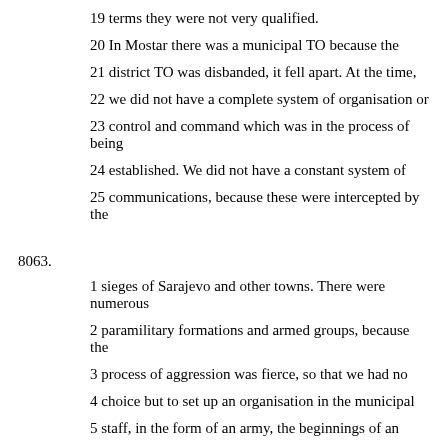19 terms they were not very qualified.
20 In Mostar there was a municipal TO because the
21 district TO was disbanded, it fell apart. At the time,
22 we did not have a complete system of organisation or
23 control and command which was in the process of being
24 established. We did not have a constant system of
25 communications, because these were intercepted by the
8063.
1 sieges of Sarajevo and other towns. There were numerous
2 paramilitary formations and armed groups, because the
3 process of aggression was fierce, so that we had no
4 choice but to set up an organisation in the municipal
5 staff, in the form of an army, the beginnings of an